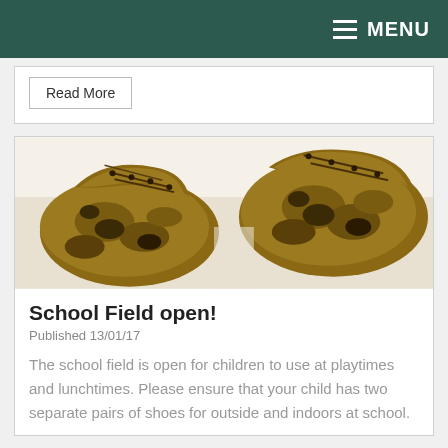MENU
Read More
[Figure (photo): Close-up photo of two mud-covered school shoes/boots on a white background]
School Field open!
Published 13/01/17
The school field is open for children to use at playtimes and lunchtimes. Please ensure that your child has two separate pairs of shoes for outside and indoors at school.